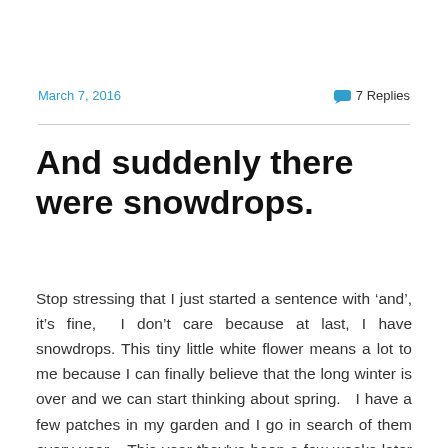March 7, 2016
7 Replies
And suddenly there were snowdrops.
Stop stressing that I just started a sentence with ‘and’, it’s fine,  I don’t care because at last, I have snowdrops. This tiny little white flower means a lot to me because I can finally believe that the long winter is over and we can start thinking about spring.   I have a few patches in my garden and I go in search of them every year.   This year they've been a few weeks later than usual and I was beginning to